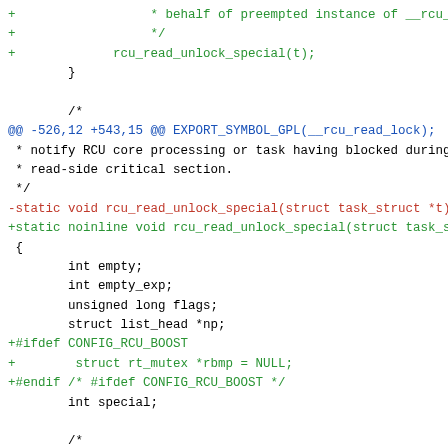[Figure (screenshot): Git diff code snippet showing changes to rcu_read_unlock_special function in C, with green added lines, red removed lines, blue diff hunk headers, and black unchanged lines.]